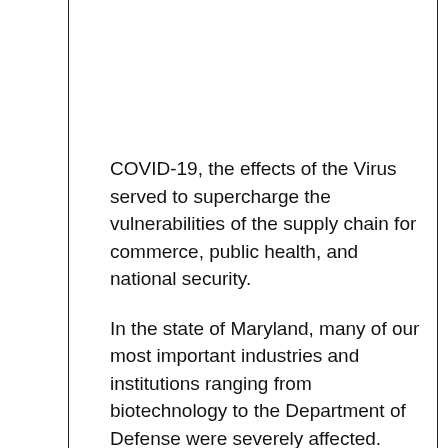COVID-19, the effects of the Virus served to supercharge the vulnerabilities of the supply chain for commerce, public health, and national security.
In the state of Maryland, many of our most important industries and institutions ranging from biotechnology to the Department of Defense were severely affected.
As consumers, business leaders and policy makers continue to deal with the fallout,  it's time rethink the design and management of supply chains across sectors.